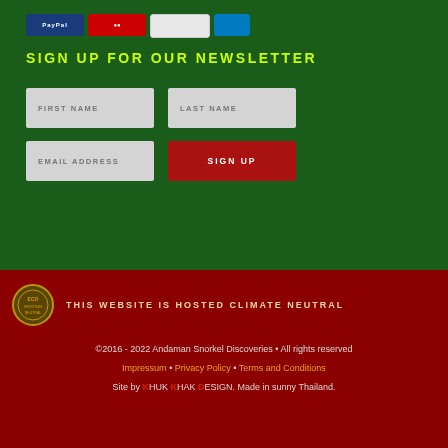[Figure (other): Payment method logos strip: PayPal, Mastercard, Visa, American Express buttons at the top of the page]
SIGN UP FOR OUR NEWSLETTER
FIRST NAME | LAST NAME | EMAIL ADDRESS | SIGN UP button
[Figure (logo): Climate neutral hosting badge — circular green seal icon]
THIS WEBSITE IS HOSTED CLIMATE NEUTRAL
©2016 - 2022 Andaman Snorkel Discoveries • All rights reserved
Impressum • Privacy Policy • Terms and Conditions
Site by KHUK KHAK DESIGN. Made in sunny Thailand.